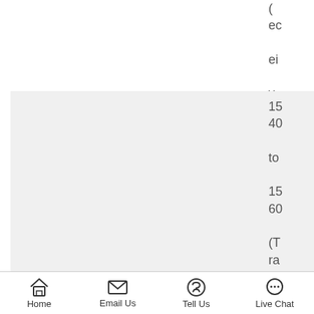(eceive)
1540 to 1560 (Transmit)
1
Home   Email Us   Tell Us   Live Chat